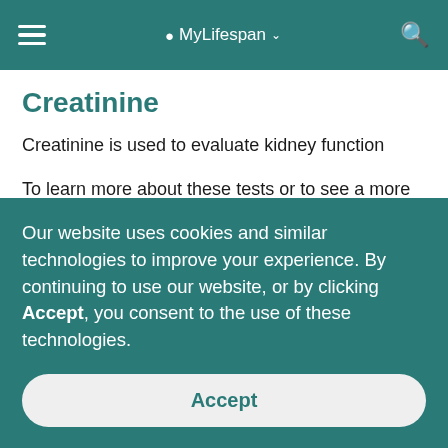MyLifespan
Creatinine
Creatinine is used to evaluate kidney function
To learn more about these tests or to see a more comprehensive list of laboratory tests, please visit LabTestsOnline.org, a public information resource
Our website uses cookies and similar technologies to improve your experience. By continuing to use our website, or by clicking Accept, you consent to the use of these technologies.